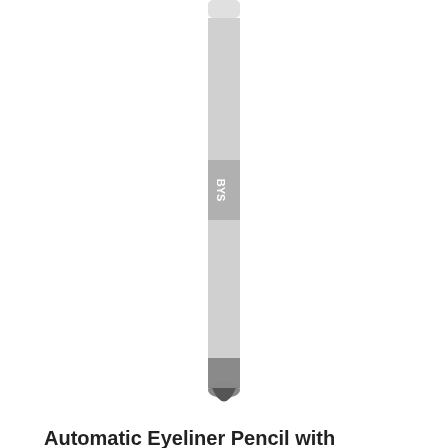[Figure (photo): Automatic eyeliner pencil in charcoal/gray color with BYS branding, shown vertically against white background]
Automatic Eyeliner Pencil with Smudger Charcoal
$3.42 inc GST
ADD TO CART
[Figure (photo): BYS Brow product packaging showing eyebrow area, partially visible at bottom of page]